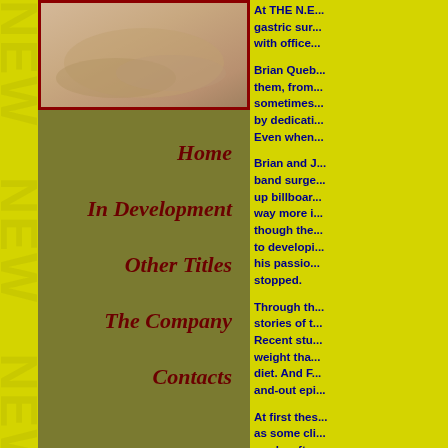[Figure (photo): Top image showing a person's crossed arms or torso, warm skin tones, with dark red border frame]
Home
In Development
Other Titles
The Company
Contacts
At THE N.E... gastric sur... with office...
Brian Queb... them, from... sometimes... by dedicati... Even when...
Brian and J... band surge... up billboar... way more i... though the... to developi... his passio... stopped.
Through th... stories of t... Recent stu... weight tha... diet. And F... and-out epi...
At first thes... as some cli... weeks after...